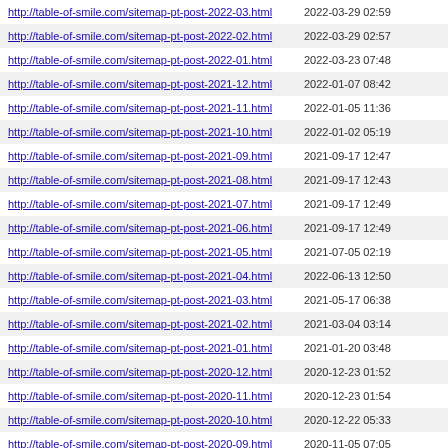| http://table-of-smile.com/sitemap-pt-post-2022-03.html | 2022-03-29 02:59 |
| http://table-of-smile.com/sitemap-pt-post-2022-02.html | 2022-03-29 02:57 |
| http://table-of-smile.com/sitemap-pt-post-2022-01.html | 2022-03-23 07:48 |
| http://table-of-smile.com/sitemap-pt-post-2021-12.html | 2022-01-07 08:42 |
| http://table-of-smile.com/sitemap-pt-post-2021-11.html | 2022-01-05 11:36 |
| http://table-of-smile.com/sitemap-pt-post-2021-10.html | 2022-01-02 05:19 |
| http://table-of-smile.com/sitemap-pt-post-2021-09.html | 2021-09-17 12:47 |
| http://table-of-smile.com/sitemap-pt-post-2021-08.html | 2021-09-17 12:43 |
| http://table-of-smile.com/sitemap-pt-post-2021-07.html | 2021-09-17 12:49 |
| http://table-of-smile.com/sitemap-pt-post-2021-06.html | 2021-09-17 12:49 |
| http://table-of-smile.com/sitemap-pt-post-2021-05.html | 2021-07-05 02:19 |
| http://table-of-smile.com/sitemap-pt-post-2021-04.html | 2022-06-13 12:50 |
| http://table-of-smile.com/sitemap-pt-post-2021-03.html | 2021-05-17 06:38 |
| http://table-of-smile.com/sitemap-pt-post-2021-02.html | 2021-03-04 03:14 |
| http://table-of-smile.com/sitemap-pt-post-2021-01.html | 2021-01-20 03:48 |
| http://table-of-smile.com/sitemap-pt-post-2020-12.html | 2020-12-23 01:52 |
| http://table-of-smile.com/sitemap-pt-post-2020-11.html | 2020-12-23 01:54 |
| http://table-of-smile.com/sitemap-pt-post-2020-10.html | 2020-12-22 05:33 |
| http://table-of-smile.com/sitemap-pt-post-2020-09.html | 2020-11-05 07:05 |